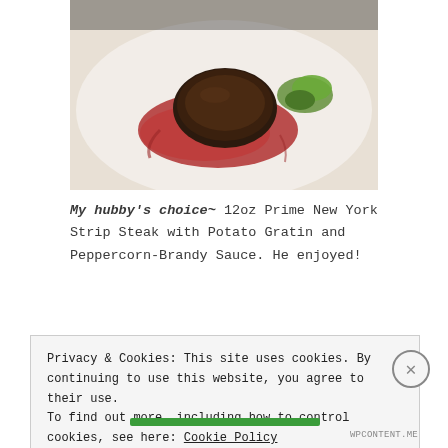[Figure (photo): Close-up food photo of a plated dish — a dark meat patty or steak on a white plate with red sauce and green microgreens garnish, viewed from above.]
My hubby's choice~ 12oz Prime New York Strip Steak with Potato Gratin and Peppercorn-Brandy Sauce. He enjoyed!
[Figure (photo): Food photo of a plated dish on a rectangular white plate with a yellow potato gratin or piped potato mound and small green herb garnish, with cutlery visible.]
Privacy & Cookies: This site uses cookies. By continuing to use this website, you agree to their use. To find out more, including how to control cookies, see here: Cookie Policy
Close and accept